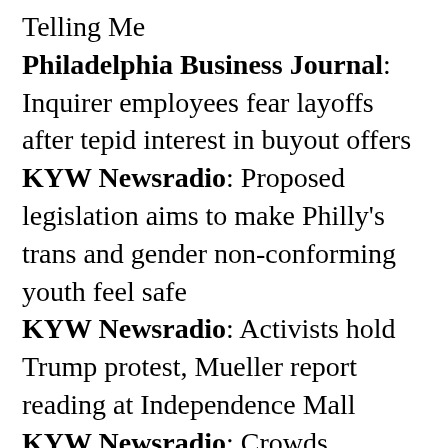Telling Me
Philadelphia Business Journal: Inquirer employees fear layoffs after tepid interest in buyout offers
KYW Newsradio: Proposed legislation aims to make Philly's trans and gender non-conforming youth feel safe
KYW Newsradio: Activists hold Trump protest, Mueller report reading at Independence Mall
KYW Newsradio: Crowds gathered in Center City to advocate, celebrate Disability Pride
KYW Newsradio: Curb cuts: Why Italian Market merchants are asking City Council to ban them
KYW Newsradio: There won't be a bay window ban in Point Breeze after all